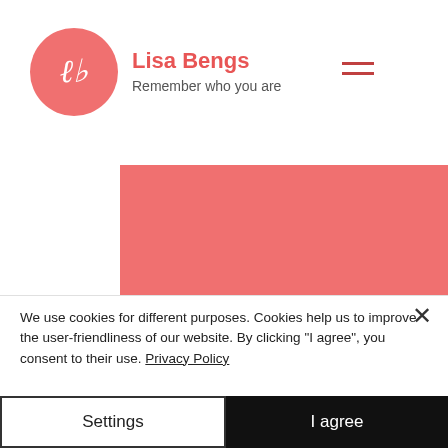Lisa Bengs – Remember who you are
Any questions? Ready to book?
Get in touch with me. Feel free to ask
We use cookies for different purposes. Cookies help us to improve the user-friendliness of our website. By clicking "I agree", you consent to their use. Privacy Policy
Settings
I agree